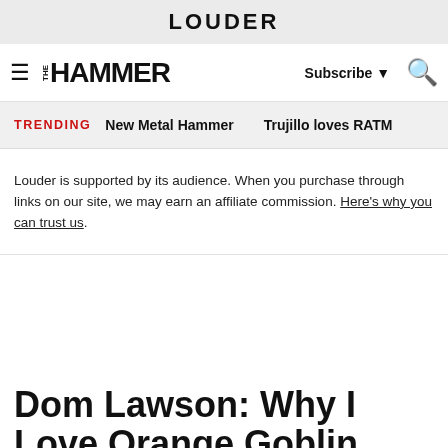LOUDER
METAL HAMMER  Subscribe  [search]
TRENDING  New Metal Hammer  Trujillo loves RATM
Louder is supported by its audience. When you purchase through links on our site, we may earn an affiliate commission. Here's why you can trust us.
Dom Lawson: Why I Love Orange Goblin